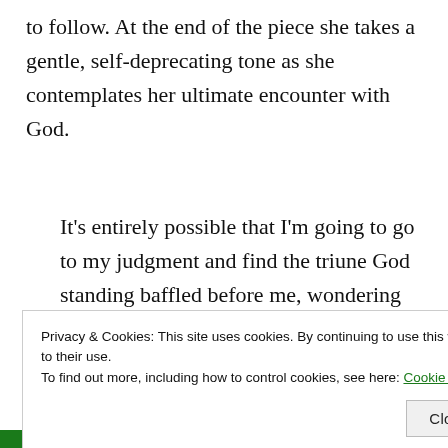to follow. At the end of the piece she takes a gentle, self-deprecating tone as she contemplates her ultimate encounter with God.
It's entirely possible that I'm going to go to my judgment and find the triune God standing baffled before me, wondering why on earth I thought I ought to be homeless and unemployed for the sake of the
Privacy & Cookies: This site uses cookies. By continuing to use this website, you agree to their use.
To find out more, including how to control cookies, see here: Cookie Policy